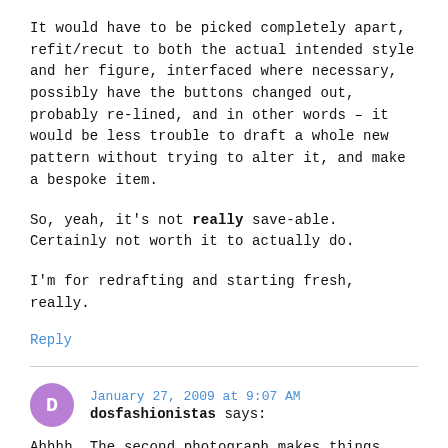It would have to be picked completely apart, refit/recut to both the actual intended style and her figure, interfaced where necessary, possibly have the buttons changed out, probably re-lined, and in other words – it would be less trouble to draft a whole new pattern without trying to alter it, and make a bespoke item.
So, yeah, it's not really save-able. Certainly not worth it to actually do.
I'm for redrafting and starting fresh, really.
Reply
January 27, 2009 at 9:07 AM
dosfashionistas says:
Ahhhh. The second photograph makes things much clearer. Were there others I should have looked at elsewhere? I always